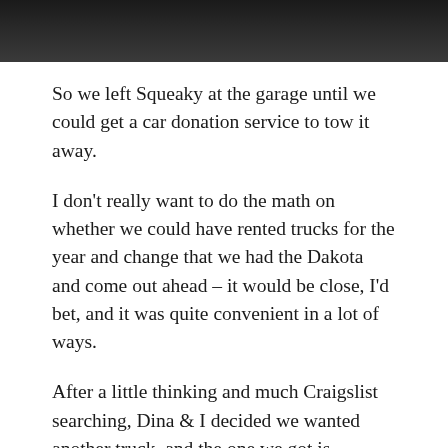[Figure (photo): Dark/black image strip at the top of the page]
So we left Squeaky at the garage until we could get a car donation service to tow it away.
I don't really want to do the math on whether we could have rented trucks for the year and change that we had the Dakota and come out ahead – it would be close, I'd bet, and it was quite convenient in a lot of ways.
After a little thinking and much Craigslist searching, Dina & I decided we wanted another truck, and the one we got is simultaneously an upgrade and a downgrade: